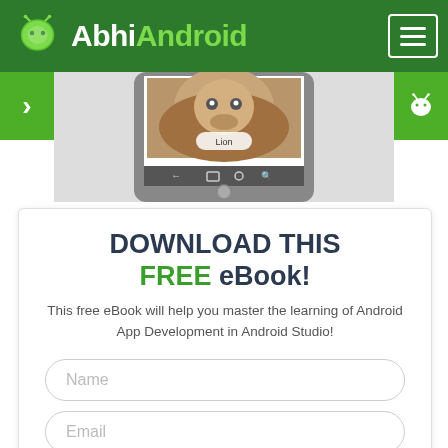AbhiAndroid
[Figure (screenshot): Android phone showing an animal recognition app with a monkey image labeled 'Lion']
DOWNLOAD THIS FREE eBook!
This free eBook will help you master the learning of Android App Development in Android Studio!
Name
Email